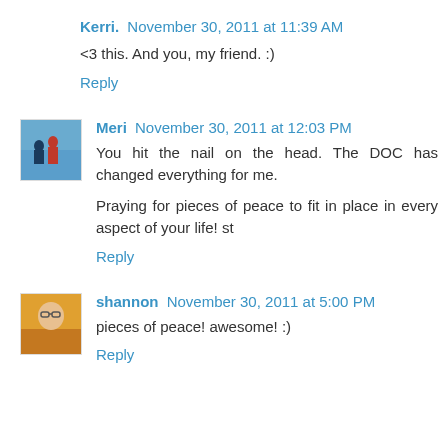Kerri. November 30, 2011 at 11:39 AM
<3 this. And you, my friend. :)
Reply
[Figure (photo): Avatar photo of Meri showing people outdoors]
Meri November 30, 2011 at 12:03 PM
You hit the nail on the head. The DOC has changed everything for me.
Praying for pieces of peace to fit in place in every aspect of your life! st
Reply
[Figure (photo): Avatar photo of Shannon, a woman with glasses and orange scarf]
shannon November 30, 2011 at 5:00 PM
pieces of peace! awesome! :)
Reply